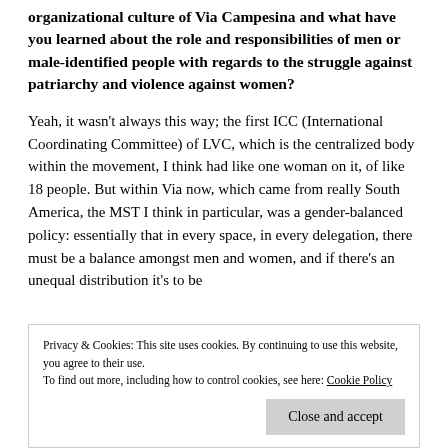organizational culture of Via Campesina and what have you learned about the role and responsibilities of men or male-identified people with regards to the struggle against patriarchy and violence against women?
Yeah, it wasn't always this way; the first ICC (International Coordinating Committee) of LVC, which is the centralized body within the movement, I think had like one woman on it, of like 18 people. But within Via now, which came from really South America, the MST I think in particular, was a gender-balanced policy: essentially that in every space, in every delegation, there must be a balance amongst men and women, and if there's an unequal distribution it's to be
Privacy & Cookies: This site uses cookies. By continuing to use this website, you agree to their use.
To find out more, including how to control cookies, see here: Cookie Policy
movements but we're creatures of society, and so you